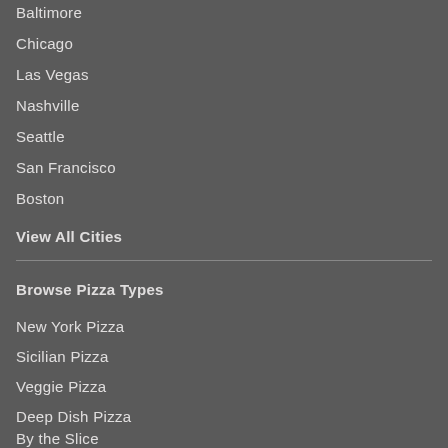Baltimore
Chicago
Las Vegas
Nashville
Seattle
San Francisco
Boston
View All Cities
Browse Pizza Types
New York Pizza
Sicilian Pizza
Veggie Pizza
Deep Dish Pizza
By the Slice
Gluten Free Pizza